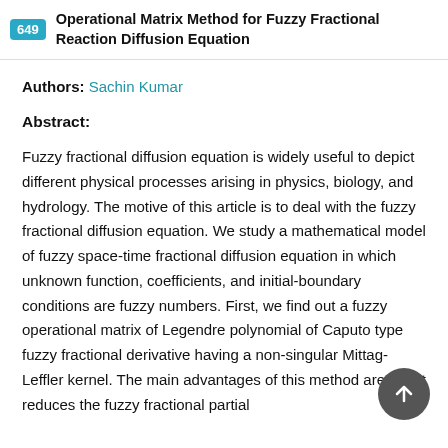649 Operational Matrix Method for Fuzzy Fractional Reaction Diffusion Equation
Authors: Sachin Kumar
Abstract:
Fuzzy fractional diffusion equation is widely useful to depict different physical processes arising in physics, biology, and hydrology. The motive of this article is to deal with the fuzzy fractional diffusion equation. We study a mathematical model of fuzzy space-time fractional diffusion equation in which unknown function, coefficients, and initial-boundary conditions are fuzzy numbers. First, we find out a fuzzy operational matrix of Legendre polynomial of Caputo type fuzzy fractional derivative having a non-singular Mittag-Leffler kernel. The main advantages of this method are that it reduces the fuzzy fractional partial